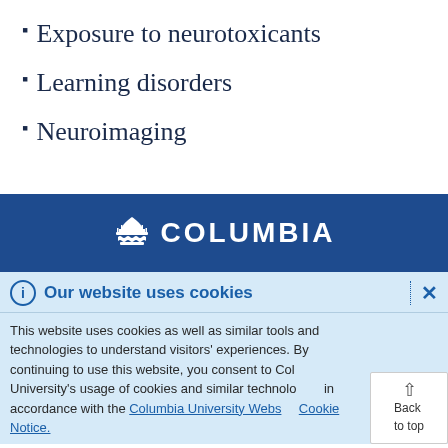Exposure to neurotoxicants
Learning disorders
Neuroimaging
[Figure (logo): Columbia University crown logo with text 'COLUMBIA' on dark blue background]
Our website uses cookies
This website uses cookies as well as similar tools and technologies to understand visitors' experiences. By continuing to use this website, you consent to Columbia University's usage of cookies and similar technologies in accordance with the Columbia University Website Cookie Notice.